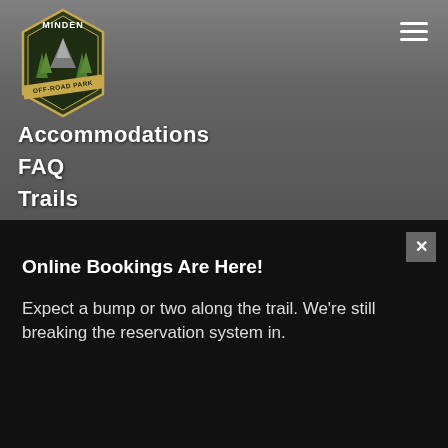[Figure (logo): Minden Off-Road Park logo — hexagonal badge with trees and mountain silhouette, text reads MINDEN OFF-ROAD PARK]
Accommodations
FAQ
Trails
Online Bookings Are Here!
Expect a bump or two along the trail. We're still breaking the reservation system in.